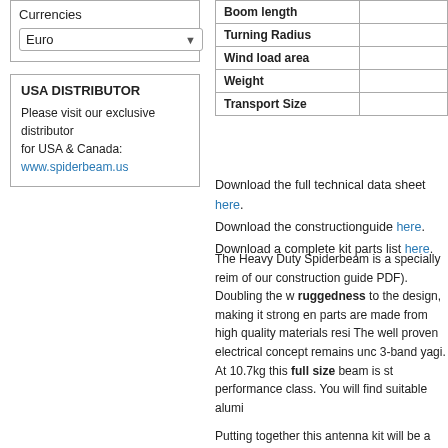Currencies
Euro
USA DISTRIBUTOR
Please visit our exclusive distributor for USA & Canada: www.spiderbeam.us
|  |  |
| --- | --- |
| Boom length |  |
| Turning Radius |  |
| Wind load area |  |
| Weight |  |
| Transport Size |  |
Download the full technical data sheet here. Download the constructionguide here. Download a complete kit parts list here.
The Heavy Duty Spiderbeam is a specially reim of our construction guide PDF). Doubling the w ruggedness to the design, making it strong en parts are made from high quality materials resi The well proven electrical concept remains unc 3-band yagi. At 10.7kg this full size beam is st performance class. You will find suitable alumi
Putting together this antenna kit will be a fun a complete antenna, as described in the constru you built with your own hands!
Welcome aboard. Over 700 spiderbeams are a Get yours today and become a happy Spiderb